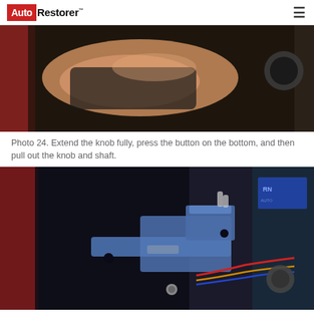Auto Restorer
[Figure (photo): Close-up of a person's hand gripping a dark interior component, likely a gear shift or knob, inside a classic car interior. Red carpet visible on left side.]
Photo 24. Extend the knob fully, press the button on the bottom, and then pull out the knob and shaft.
[Figure (photo): Interior mechanical view of a classic car showing blue metal bracket and linkage components, wiring harness with red, yellow, and blue wires, and a dashboard area with gauge cluster visible on the right. Red carpet on the left.]